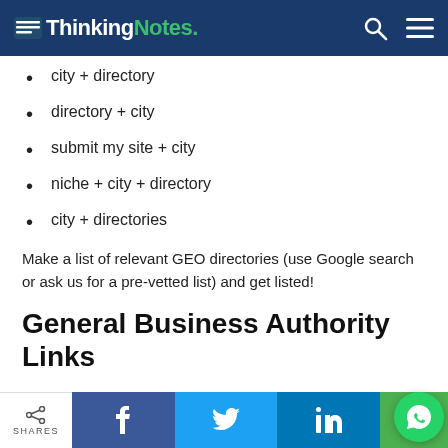ThinkingNotes.
city + directory
directory + city
submit my site + city
niche + city + directory
city + directories
Make a list of relevant GEO directories (use Google search or ask us for a pre-vetted list) and get listed!
General Business Authority Links
SHARES | Facebook | Twitter | LinkedIn | WhatsApp